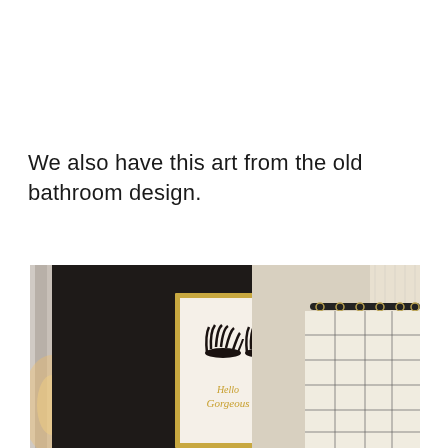We also have this art from the old bathroom design.
[Figure (photo): Photo of a bathroom showing a gold-framed art print with illustrated eyelashes and text 'Hello Gorgeous' on a dark wall, next to a white grid-patterned shower curtain on a black rod with gold curtain rings.]